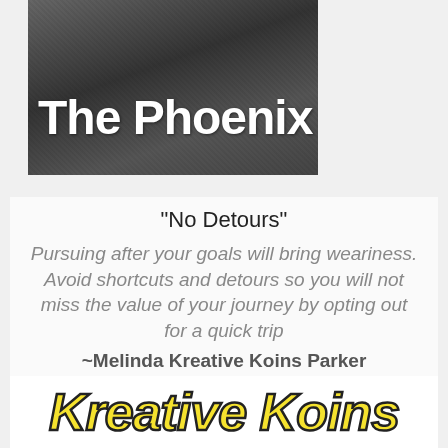[Figure (photo): Black and white photo with text 'The Phoenix' overlaid in white bold letters on the left side]
"No Detours"
Pursuing after your goals will bring weariness. Avoid shortcuts and detours so you will not miss the value of your journey by opting out for a quick trip ~Melinda Kreative Koins Parker
[Figure (logo): Kreative Koins logo in yellow bold italic text with black outline]